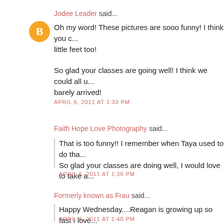Jodee Leader said...
Oh my word! These pictures are sooo funny! I think you c... little feet too!
So glad your classes are going well! I think we could all u... barely arrived!
APRIL 6, 2011 AT 1:33 PM
Faith Hope Love Photography said...
That is too funny!! I remember when Taya used to do tha... So glad your classes are doing well, I would love to take a...
APRIL 6, 2011 AT 1:36 PM
Formerly known as Frau said...
Happy Wednesday....Reagan is growing up so fast I love...
APRIL 6, 2011 AT 1:40 PM